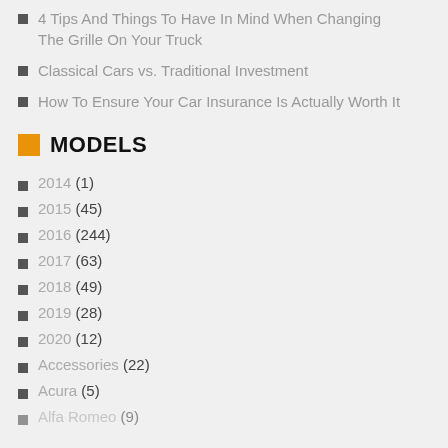4 Tips And Things To Have In Mind When Changing The Grille On Your Truck
Classical Cars vs. Traditional Investment
How To Ensure Your Car Insurance Is Actually Worth It
MODELS
2014 (1)
2015 (45)
2016 (244)
2017 (63)
2018 (49)
2019 (28)
2020 (12)
Accessories (22)
Acura (5)
Alfa Romeo (9)